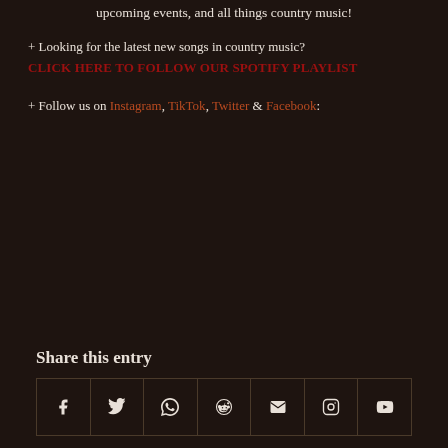upcoming events, and all things country music!
+ Looking for the latest new songs in country music?
CLICK HERE TO FOLLOW OUR SPOTIFY PLAYLIST
+ Follow us on Instagram, TikTok, Twitter & Facebook:
Share this entry
[Figure (infographic): Row of 7 social share icon buttons: Facebook, Twitter, WhatsApp, Reddit, Email, Instagram, YouTube]